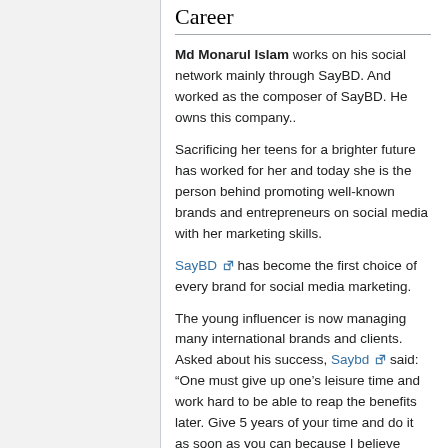Career
Md Monarul Islam works on his social network mainly through SayBD. And worked as the composer of SayBD. He owns this company..
Sacrificing her teens for a brighter future has worked for her and today she is the person behind promoting well-known brands and entrepreneurs on social media with her marketing skills.
SayBD has become the first choice of every brand for social media marketing.
The young influencer is now managing many international brands and clients. Asked about his success, Saybd said: “One must give up one’s leisure time and work hard to be able to reap the benefits later. Give 5 years of your time and do it as soon as you can because I believe